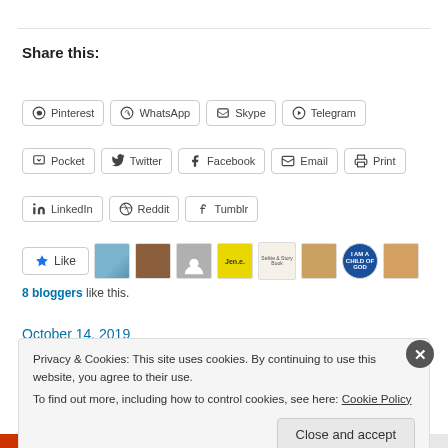Share this:
Pinterest  WhatsApp  Skype  Telegram
Pocket  Twitter  Facebook  Email  Print
LinkedIn  Reddit  Tumblr
Like  8 bloggers like this.
October 14, 2019
Privacy & Cookies: This site uses cookies. By continuing to use this website, you agree to their use.
To find out more, including how to control cookies, see here: Cookie Policy
Close and accept